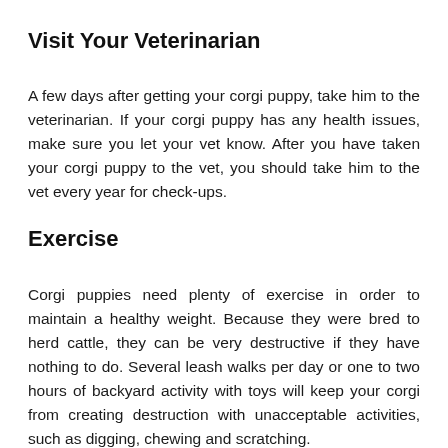Visit Your Veterinarian
A few days after getting your corgi puppy, take him to the veterinarian. If your corgi puppy has any health issues, make sure you let your vet know. After you have taken your corgi puppy to the vet, you should take him to the vet every year for check-ups.
Exercise
Corgi puppies need plenty of exercise in order to maintain a healthy weight. Because they were bred to herd cattle, they can be very destructive if they have nothing to do. Several leash walks per day or one to two hours of backyard activity with toys will keep your corgi from creating destruction with unacceptable activities, such as digging, chewing and scratching.
Off-leash play with other dogs, tug-of-war, swimming, or playing fetch is also great exercise for your corgi puppies. In addition to all this, obedience training is a great way to